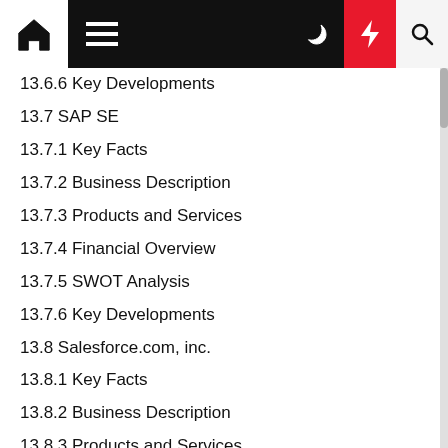Navigation bar with home, menu, moon, lightning, and search icons
13.6.6 Key Developments
13.7 SAP SE
13.7.1 Key Facts
13.7.2 Business Description
13.7.3 Products and Services
13.7.4 Financial Overview
13.7.5 SWOT Analysis
13.7.6 Key Developments
13.8 Salesforce.com, inc.
13.8.1 Key Facts
13.8.2 Business Description
13.8.3 Products and Services
13.8.4 Financial Overview
13.8.5 SWOT Analysis
13.8.6 Key Developments
13.9 Oracle Corporation
13.9.1 Key Facts